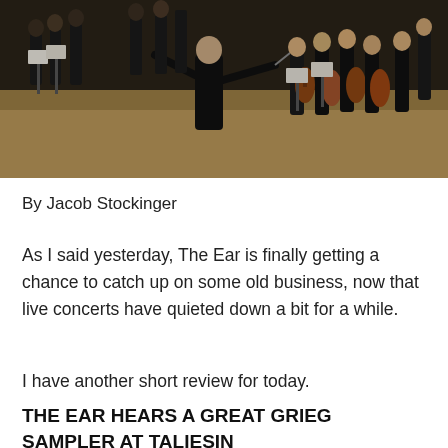[Figure (photo): Orchestra performing with conductor in foreground, back to camera, arms raised. Musicians with string instruments visible on stage in concert hall.]
By Jacob Stockinger
As I said yesterday, The Ear is finally getting a chance to catch up on some old business, now that live concerts have quieted down a bit for a while.
I have another short review for today.
THE EAR HEARS A GREAT GRIEG SAMPLER AT TALIESIN